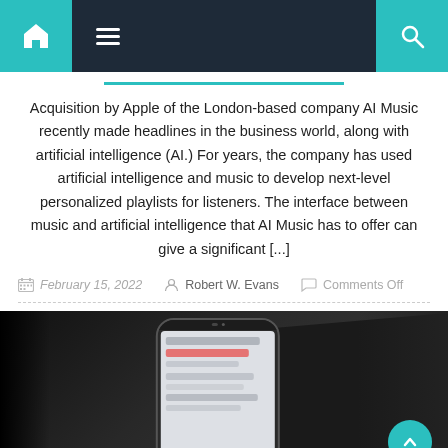Navigation bar with home, menu, and search icons
Acquisition by Apple of the London-based company AI Music recently made headlines in the business world, along with artificial intelligence (AI.) For years, the company has used artificial intelligence and music to develop next-level personalized playlists for listeners. The interface between music and artificial intelligence that AI Music has to offer can give a significant [...]
February 15, 2022  Robert W. Evans  Comments Off
[Figure (photo): Smartphone showing a music playlist app screen, placed on a dark surface with laptop in background]